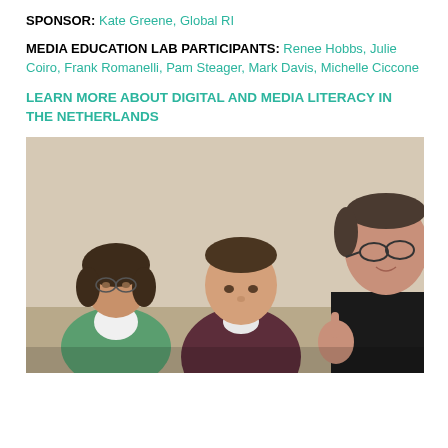SPONSOR: Kate Greene, Global RI
MEDIA EDUCATION LAB PARTICIPANTS: Renee Hobbs, Julie Coiro, Frank Romanelli, Pam Steager, Mark Davis, Michelle Ciccone
LEARN MORE ABOUT DIGITAL AND MEDIA LITERACY IN THE NETHERLANDS
[Figure (photo): Three people seated at a table in a meeting room. On the left, a woman with short dark hair wearing a white turtleneck and green blazer. In the center, a younger man in a dark maroon sweater. On the right, an older man with glasses and dark clothing, gesturing with his hand while speaking.]